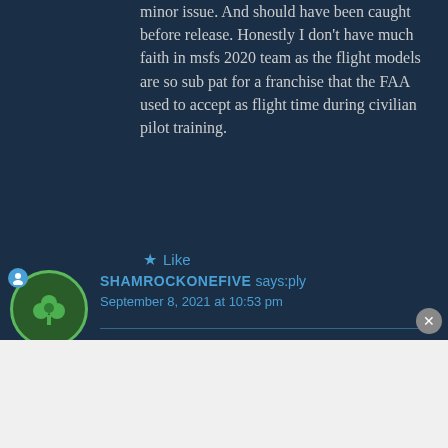minor issue. And should have been caught before release. Honestly I don't have much faith in msfs 2020 team as the flight models are so sub pat for a franchise that the FAA used to accept as flight time during civilian pilot training.
★ Like
[Figure (illustration): User avatar circle with shamrock/clover icon on dark navy background, with small blue user badge icon]
SHAMROCKONEFIVE says: Reply
September 8, 2021 at 10:53 pm
Advertisements
[Figure (other): Macy's advertisement banner with red background showing 'KISS BORING LIPS GOODBYE' with a woman's face and red lips, and a SHOP NOW button with Macy's logo]